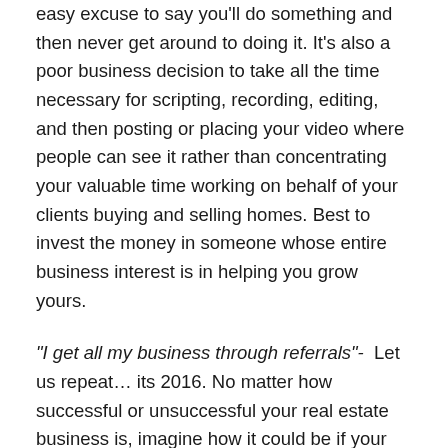easy excuse to say you'll do something and then never get around to doing it. It's also a poor business decision to take all the time necessary for scripting, recording, editing, and then posting or placing your video where people can see it rather than concentrating your valuable time working on behalf of your clients buying and selling homes. Best to invest the money in someone whose entire business interest is in helping you grow yours.
“I get all my business through referrals”-  Let us repeat… its 2016. No matter how successful or unsuccessful your real estate business is, imagine how it could be if your referrals could actually find you on the internet thanks to some quality, well produced and well placed marketing, and introductory videos. In today’s internet age no referral just calls you based on someones recommendation. They Google you first. And if you are not showing up, or